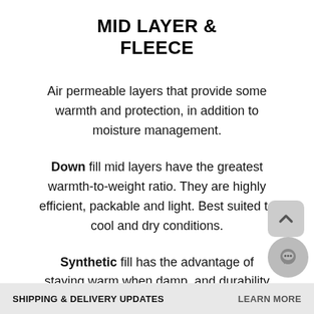MID LAYER & FLEECE
Air permeable layers that provide some warmth and protection, in addition to moisture management.
Down fill mid layers have the greatest warmth-to-weight ratio. They are highly efficient, packable and light. Best suited to cool and dry conditions.
Synthetic fill has the advantage of staying warm when damp, and durability
SHIPPING & DELIVERY UPDATES   LEARN MORE